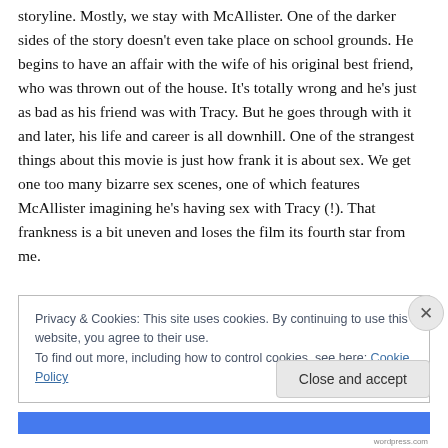storyline. Mostly, we stay with McAllister. One of the darker sides of the story doesn't even take place on school grounds. He begins to have an affair with the wife of his original best friend, who was thrown out of the house. It's totally wrong and he's just as bad as his friend was with Tracy. But he goes through with it and later, his life and career is all downhill. One of the strangest things about this movie is just how frank it is about sex. We get one too many bizarre sex scenes, one of which features McAllister imagining he's having sex with Tracy (!). That frankness is a bit uneven and loses the film its fourth star from me.
Privacy & Cookies: This site uses cookies. By continuing to use this website, you agree to their use.
To find out more, including how to control cookies, see here: Cookie Policy